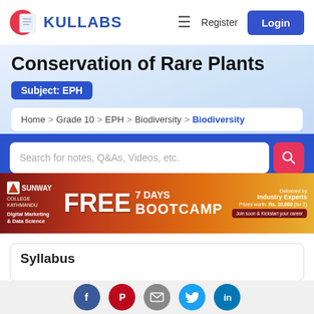Kullabs | Register | Login
Conservation of Rare Plants
Subject: EPH
Home > Grade 10 > EPH > Biodiversity > Biodiversity
Search for notes, Q&As, Videos, etc.
[Figure (infographic): Sunway College advertisement banner for FREE 7 DAYS BOOTCAMP in Digital Marketing & Data Science, delivered by Industry Experts, Prizes worth Rs. 10,000]
Syllabus
Facebook Pinterest Email Twitter LinkedIn social share icons